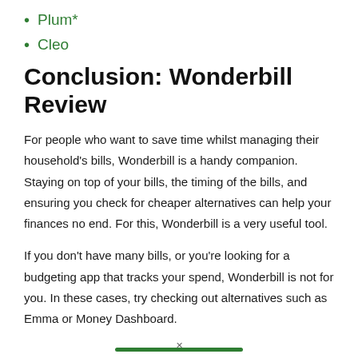Plum*
Cleo
Conclusion: Wonderbill Review
For people who want to save time whilst managing their household's bills, Wonderbill is a handy companion. Staying on top of your bills, the timing of the bills, and ensuring you check for cheaper alternatives can help your finances no end. For this, Wonderbill is a very useful tool.
If you don't have many bills, or you're looking for a budgeting app that tracks your spend, Wonderbill is not for you. In these cases, try checking out alternatives such as Emma or Money Dashboard.